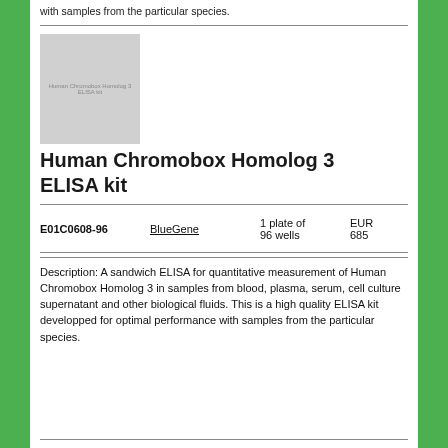with samples from the particular species.
[Figure (photo): Product image of Human Chromobox Homolog 3 ELISA kit with text overlay]
Human Chromobox Homolog 3 ELISA kit
| Code | Brand | Quantity | Price |
| --- | --- | --- | --- |
| E01C0608-96 | BlueGene | 1 plate of 96 wells | EUR 685 |
Description: A sandwich ELISA for quantitative measurement of Human Chromobox Homolog 3 in samples from blood, plasma, serum, cell culture supernatant and other biological fluids. This is a high quality ELISA kit developped for optimal performance with samples from the particular species.